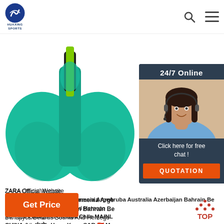HUAXING SPORTS logo, search icon, menu icon
[Figure (photo): Green mermaid swim fin with lime green adjustable strap, shown from back/top view against white background]
[Figure (photo): 24/7 Online chat widget with female customer service agent wearing headset, and a 'Click here for free chat!' button and orange QUOTATION button]
ZARA Official Website Albania Algérie Andorra Armenia Arge Aruba Australia Azerbaijan Bahrain Be Беларусь/Belarus Bosnia And Herzego България Bulgaria Canada Chile MAINL CHINA 中国 Hong Kong SAR 香港特別行政區 Ma 澳門 Taiwan, China 台灣 Colombia Costa Rica Cyprus Česká republika Danmark Deutschland Germany Ecuador ...
[Figure (other): TOP button with orange dot pattern triangle above text]
Get Price